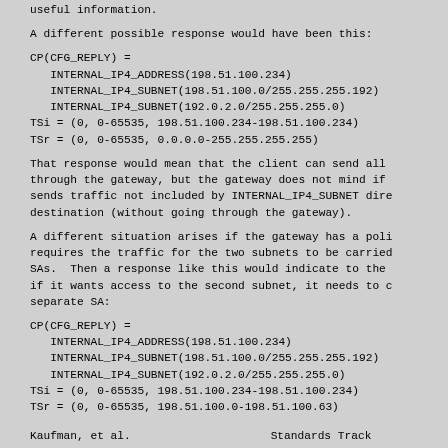useful information.
A different possible response would have been this:
CP(CFG_REPLY) =
   INTERNAL_IP4_ADDRESS(198.51.100.234)
   INTERNAL_IP4_SUBNET(198.51.100.0/255.255.255.192)
   INTERNAL_IP4_SUBNET(192.0.2.0/255.255.255.0)
TSi = (0, 0-65535, 198.51.100.234-198.51.100.234)
TSr = (0, 0-65535, 0.0.0.0-255.255.255.255)
That response would mean that the client can send all through the gateway, but the gateway does not mind if sends traffic not included by INTERNAL_IP4_SUBNET dire destination (without going through the gateway).
A different situation arises if the gateway has a pol: requires the traffic for the two subnets to be carried SAs.  Then a response like this would indicate to the if it wants access to the second subnet, it needs to c separate SA:
CP(CFG_REPLY) =
   INTERNAL_IP4_ADDRESS(198.51.100.234)
   INTERNAL_IP4_SUBNET(198.51.100.0/255.255.255.192)
   INTERNAL_IP4_SUBNET(192.0.2.0/255.255.255.0)
TSi = (0, 0-65535, 198.51.100.234-198.51.100.234)
TSr = (0, 0-65535, 198.51.100.0-198.51.100.63)
Kaufman, et al.               Standards Track